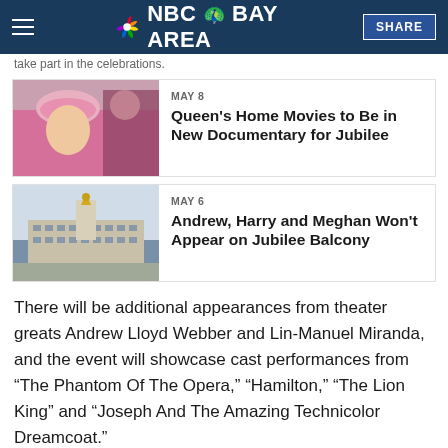NBC Bay Area
take part in the celebrations.
[Figure (photo): Photo of Queen Elizabeth II smiling, wearing a pink hat and outfit]
MAY 8
Queen's Home Movies to Be in New Documentary for Jubilee
[Figure (photo): Photo of Buckingham Palace with Victoria Memorial statue in front]
MAY 6
Andrew, Harry and Meghan Won't Appear on Jubilee Balcony
There will be additional appearances from theater greats Andrew Lloyd Webber and Lin-Manuel Miranda, and the event will showcase cast performances from “The Phantom Of The Opera,” “Hamilton,” “The Lion King” and “Joseph And The Amazing Technicolor Dreamcoat.”
And Diana Ross will close out the festivities by delivering her first U.K. performance in 15 years.